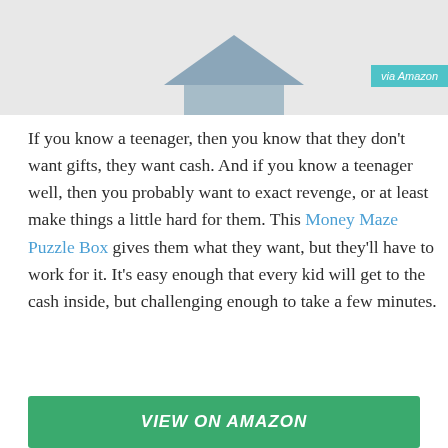[Figure (photo): Top portion showing a product image (Money Maze Puzzle Box) partially visible against a light gray background, with a teal 'via Amazon' badge in the upper right corner.]
If you know a teenager, then you know that they don't want gifts, they want cash. And if you know a teenager well, then you probably want to exact revenge, or at least make things a little hard for them. This Money Maze Puzzle Box gives them what they want, but they'll have to work for it. It's easy enough that every kid will get to the cash inside, but challenging enough to take a few minutes.
VIEW ON AMAZON